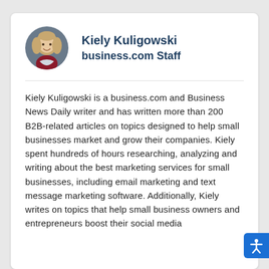[Figure (photo): Circular profile photo of Kiely Kuligowski, a woman with blonde hair]
Kiely Kuligowski
business.com Staff
Kiely Kuligowski is a business.com and Business News Daily writer and has written more than 200 B2B-related articles on topics designed to help small businesses market and grow their companies. Kiely spent hundreds of hours researching, analyzing and writing about the best marketing services for small businesses, including email marketing and text message marketing software. Additionally, Kiely writes on topics that help small business owners and entrepreneurs boost their social media